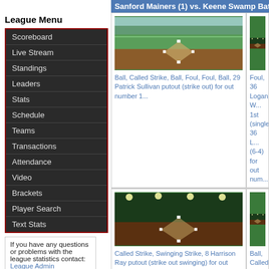Sanford Mainers (1) vs. Keene Swamp Bats (4) Aug...
League Menu
Scoreboard
Live Stream
Standings
Leaders
Stats
Schedule
Teams
Transactions
Attendance
Video
Brackets
Player Search
Text Stats
If you have any questions or problems with the league statistics contact: League Admin
[Figure (photo): Baseball field daytime aerial view]
Ball, Called Strike, Ball, Foul, Foul, Ball, 29 Patrick Sullivan putout (strike out) for out number 1...
[Figure (photo): Baseball field night game aerial view - right side partial]
Foul, 36 Logan W... 1st (single), 36 L... (6-4) for out num...
[Figure (photo): Baseball field night game aerial view]
Called Strike, Swinging Strike, 8 Harrison Ray putout (strike out swinging) for out number 1
[Figure (photo): Baseball field night game aerial view - right side partial]
Ball, Called Strik... Ball, Ball, 5 JT Pi... out swinging) for...
[Figure (photo): Baseball field bottom partial row left]
[Figure (photo): Baseball field bottom partial row right]